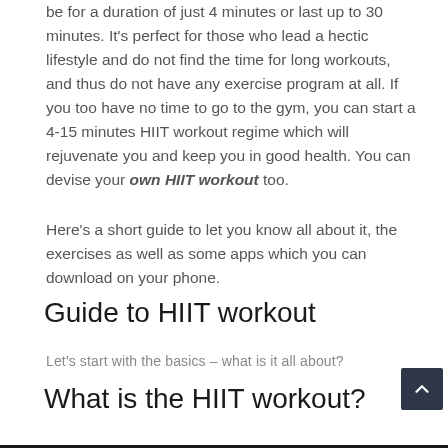be for a duration of just 4 minutes or last up to 30 minutes. It's perfect for those who lead a hectic lifestyle and do not find the time for long workouts, and thus do not have any exercise program at all. If you too have no time to go to the gym, you can start a 4-15 minutes HIIT workout regime which will rejuvenate you and keep you in good health. You can devise your own HIIT workout too.
Here's a short guide to let you know all about it, the exercises as well as some apps which you can download on your phone.
Guide to HIIT workout
Let's start with the basics – what is it all about?
What is the HIIT workout?